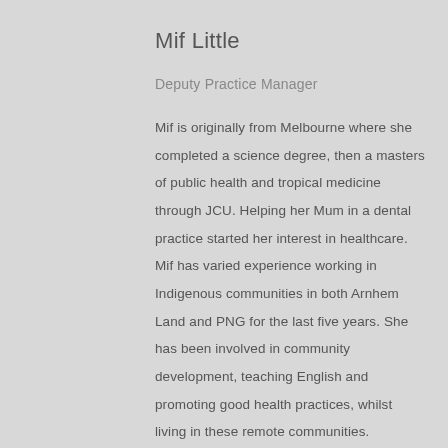Mif Little
Deputy Practice Manager
Mif is originally from Melbourne where she completed a science degree, then a masters of public health and tropical medicine through JCU. Helping her Mum in a dental practice started her interest in healthcare. Mif has varied experience working in Indigenous communities in both Arnhem Land and PNG for the last five years. She has been involved in community development, teaching English and promoting good health practices, whilst living in these remote communities.
She enjoys spending time with her children and husband, camping and going on…